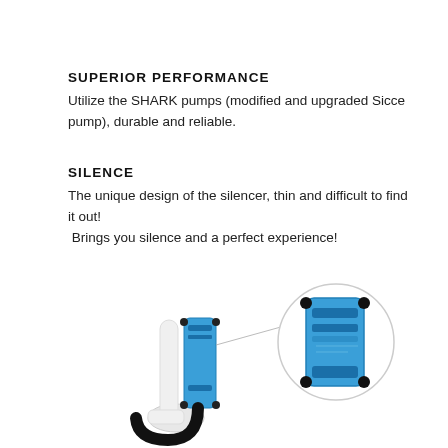SUPERIOR PERFORMANCE
Utilize the SHARK pumps (modified and upgraded Sicce pump), durable and reliable.
SILENCE
The unique design of the silencer, thin and difficult to find it out!
 Brings you silence and a perfect experience!
[Figure (photo): Photo of a blue aquarium protein skimmer pump (SHARK pump) with a circular magnified inset showing closeup of the pump head/motor component. The device is white and blue with black tubing.]